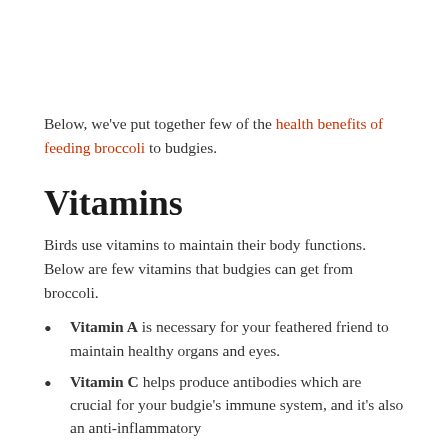Below, we've put together few of the health benefits of feeding broccoli to budgies.
Vitamins
Birds use vitamins to maintain their body functions. Below are few vitamins that budgies can get from broccoli.
Vitamin A is necessary for your feathered friend to maintain healthy organs and eyes.
Vitamin C helps produce antibodies which are crucial for your budgie's immune system, and it's also an anti-inflammatory
Vitamin K in broccoli aids your parrot's blood's ability to clot normally.